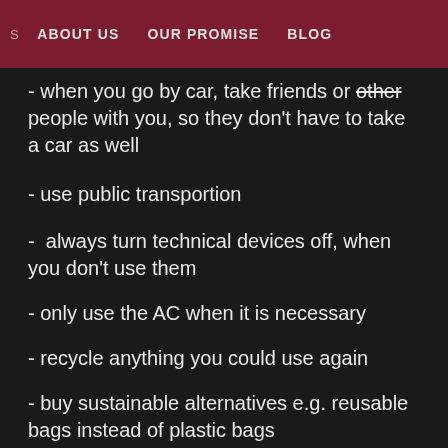S   ABOUT US   OUR PROMISE   BLOG
- when you go by car, take friends or other people with you, so they don't have to take a car as well
- use public transportion
-  always turn technical devices off, when you don't use them
- only use the AC when it is necessary
- recycle anything you could use again
- buy sustainable alternatives e.g. reusable bags instead of plastic bags
- do not take the plane if it is unnecessary
- eat less (therefore higher quality) meat